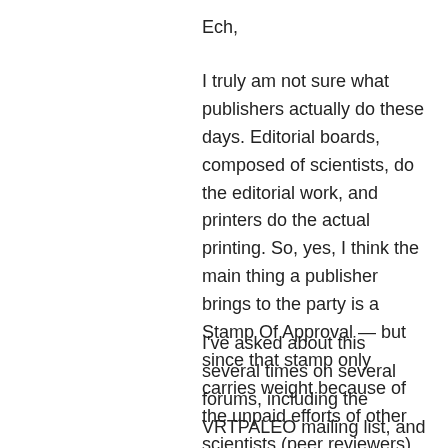Ech,
I truly am not sure what publishers actually do these days. Editorial boards, composed of scientists, do the editorial work, and printers do the actual printing. So, yes, I think the main thing a publisher brings to the party is a Stamp Of Approval — but since that stamp only carries weight because of the unpaid efforts of other scientists (peer reviewers), the actual contribution of publishers is still not clear to me.
I've asked about this several times on several forums, including the VRTPALEO mailing list, and never got a very compelling answer. I am still very, very open to learning, so if anyone has anything to throw in, please do. Maybe the best